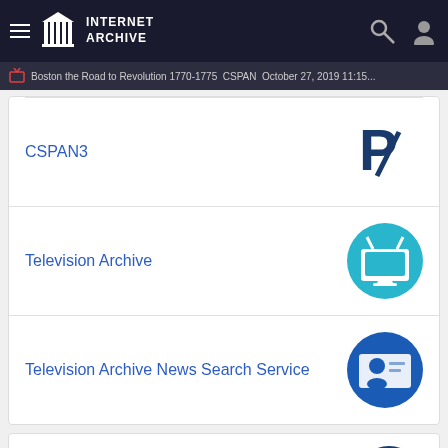Internet Archive
Boston the Road to Revolution 1770-1775 CSPAN October 27, 2019 11:15...
CSPAN3
Television Archive
Television Archive News Search Service
Uploaded by
TV Archive
on October 27, 2019